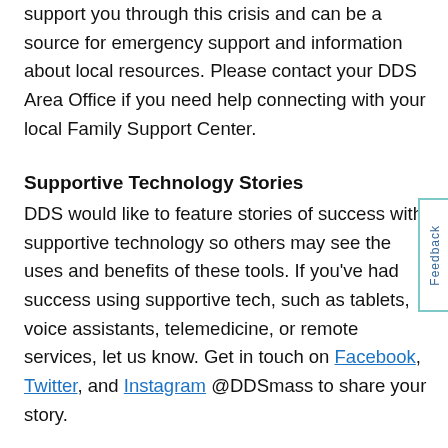support you through this crisis and can be a source for emergency support and information about local resources. Please contact your DDS Area Office if you need help connecting with your local Family Support Center.
Supportive Technology Stories
DDS would like to feature stories of success with supportive technology so others may see the uses and benefits of these tools. If you've had success using supportive tech, such as tablets, voice assistants, telemedicine, or remote services, let us know. Get in touch on Facebook, Twitter, and Instagram @DDSmass to share your story.
Coronavirus Update: March 25